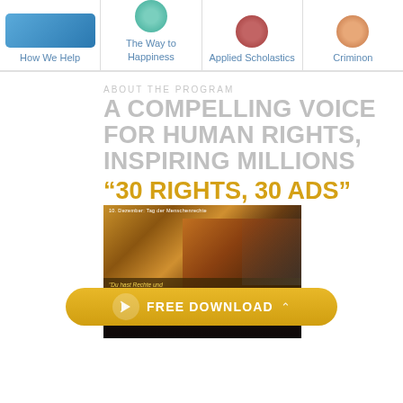How We Help | The Way to Happiness | Applied Scholastics | Criminon
ABOUT THE PROGRAM
A COMPELLING VOICE FOR HUMAN RIGHTS, INSPIRING MILLIONS
’30 RIGHTS, 30 ADS”
[Figure (photo): Billboard/screen in a public space showing a man with the 30 Rights 30 Ads campaign advertisement, with crowd silhouettes below]
FREE DOWNLOAD